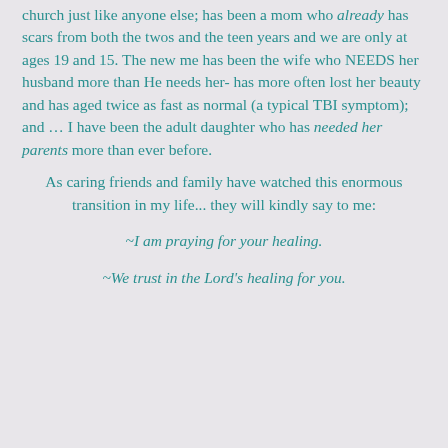church just like anyone else; has been a mom who already has scars from both the twos and the teen years and we are only at ages 19 and 15. The new me has been the wife who NEEDS her husband more than He needs her- has more often lost her beauty and has aged twice as fast as normal (a typical TBI symptom); and … I have been the adult daughter who has needed her parents more than ever before.
As caring friends and family have watched this enormous transition in my life... they will kindly say to me:
~I am praying for your healing.
~We trust in the Lord's healing for you.